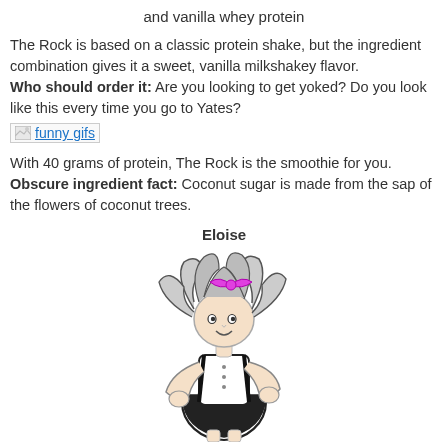and vanilla whey protein
The Rock is based on a classic protein shake, but the ingredient combination gives it a sweet, vanilla milkshakey flavor. Who should order it: Are you looking to get yoked? Do you look like this every time you go to Yates?
[Figure (other): Broken image placeholder showing 'funny gifs' link text with image icon]
With 40 grams of protein, The Rock is the smoothie for you. Obscure ingredient fact: Coconut sugar is made from the sap of the flowers of coconut trees.
Eloise
[Figure (illustration): Black and white cartoon illustration of a young girl (Eloise) with wild hair and a pink bow, wearing a school uniform with a pleated skirt, posing with hands on hips and a mischievous expression.]